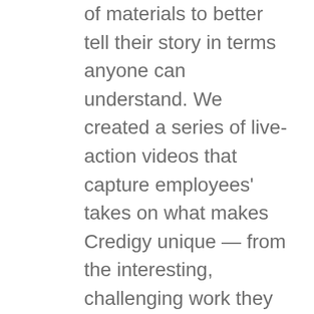of materials to better tell their story in terms anyone can understand. We created a series of live-action videos that capture employees' takes on what makes Credigy unique — from the interesting, challenging work they do to the camaraderie within the office and the perks they enjoy — to explain both the business itself and the employee experience. Meanwhile, an animated video puts their business transactions in the simplest of terms. Many of these videos live on the new website we designed, while others will be used on social media, at conferences and for onboarding new employees. Finally, we created print materials, including a